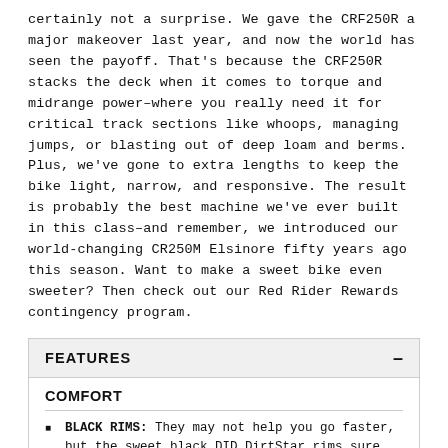certainly not a surprise. We gave the CRF250R a major makeover last year, and now the world has seen the payoff. That's because the CRF250R stacks the deck when it comes to torque and midrange power–where you really need it for critical track sections like whoops, managing jumps, or blasting out of deep loam and berms. Plus, we've gone to extra lengths to keep the bike light, narrow, and responsive. The result is probably the best machine we've ever built in this class–and remember, we introduced our world-changing CR250M Elsinore fifty years ago this season. Want to make a sweet bike even sweeter? Then check out our Red Rider Rewards contingency program.
FEATURES
COMFORT
BLACK RIMS: They may not help you go faster, but the sweet black DID DirtStar rims sure look good.
LOWER SEAT / NARROWER BODY: Fine tuning the seat height and narrowing the bodywork makes it easier for you to move around on the bike and therefore easier for you to corner.